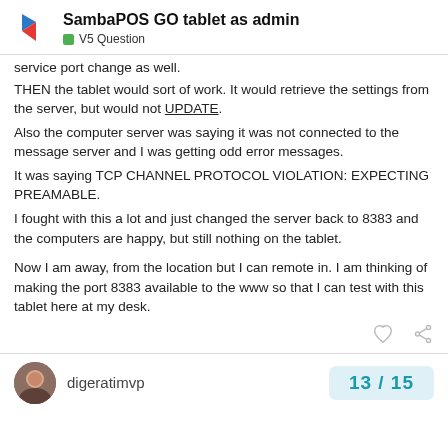SambaPOS GO tablet as admin — V5 Question
service port change as well. THEN the tablet would sort of work. It would retrieve the settings from the server, but would not UPDATE. Also the computer server was saying it was not connected to the message server and I was getting odd error messages. It was saying TCP CHANNEL PROTOCOL VIOLATION: EXPECTING PREAMABLE. I fought with this a lot and just changed the server back to 8383 and the computers are happy, but still nothing on the tablet.

Now I am away, from the location but I can remote in. I am thinking of making the port 8383 available to the www so that I can test with this tablet here at my desk.
digeratimvp
13 / 15